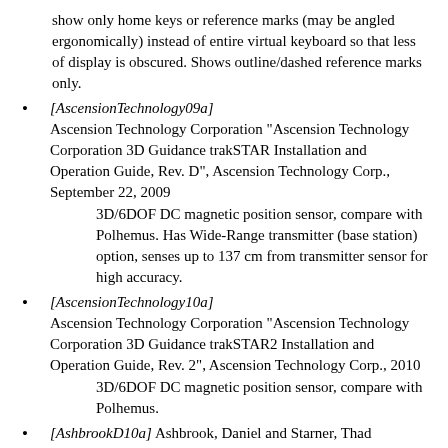show only home keys or reference marks (may be angled ergonomically) instead of entire virtual keyboard so that less of display is obscured. Shows outline/dashed reference marks only.
[AscensionTechnology09a] Ascension Technology Corporation "Ascension Technology Corporation 3D Guidance trakSTAR Installation and Operation Guide, Rev. D", Ascension Technology Corp., September 22, 2009
3D/6DOF DC magnetic position sensor, compare with Polhemus. Has Wide-Range transmitter (base station) option, senses up to 137 cm from transmitter sensor for high accuracy.
[AscensionTechnology10a] Ascension Technology Corporation "Ascension Technology Corporation 3D Guidance trakSTAR2 Installation and Operation Guide, Rev. 2", Ascension Technology Corp., 2010
3D/6DOF DC magnetic position sensor, compare with Polhemus.
[AshbrookD10a] Ashbrook, Daniel and Starner, Thad "MAGIC: A Motion Gesture Design Tool", Proc. CHI 2010, April 10-15, Atlanta. 10 pages
Trainable gesture recognition system by example. Includes some automation for false positive and